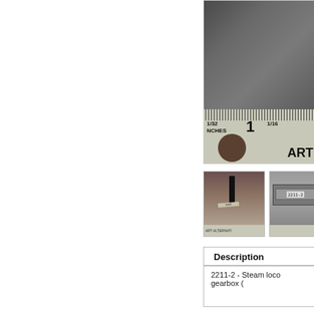[Figure (photo): Close-up photo of a small metal steam locomotive gearbox part next to a ruler showing inches markings (1/32, 1, 1/16 inch) with ART branding visible]
[Figure (photo): Thumbnail photo 1: small metal steam loco gearbox part standing upright next to a ruler]
[Figure (photo): Thumbnail photo 2: small metal steam loco gearbox part lying flat with label '2211-2']
Description
2211-2 - Steam loco gearbox (